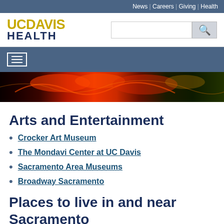News | Careers | Giving | Health
[Figure (logo): UC Davis Health logo with search bar]
[Figure (photo): Colorful neon lights photo banner, partial view]
Arts and Entertainment
Crocker Art Museum
The Mondavi Center at UC Davis
Sacramento Area Museums
Broadway Sacramento
Places to live in and near Sacramento